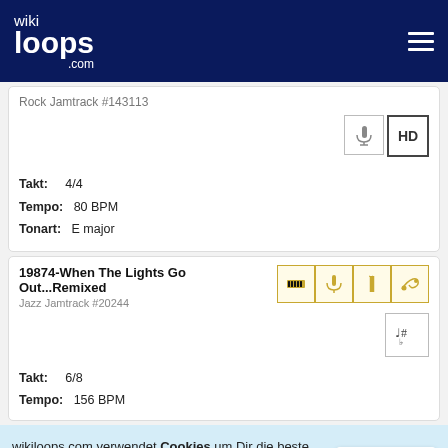wikiloops.com
Rock Jamtrack #143113
Takt: 4/4
Tempo: 80 BPM
Tonart: E major
19874-When The Lights Go Out...Remixed
Jazz Jamtrack #20244
Takt: 6/8
Tempo: 156 BPM
wikiloops.com verwendet Cookies um Dir die beste Nutzererfahrung zu ermöglichen. Lies mehr in unseren Datenschutzbestimmungen .